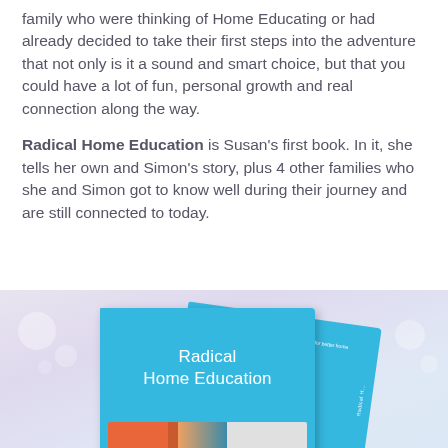family who were thinking of Home Educating or had already decided to take their first steps into the adventure that not only is it a sound and smart choice, but that you could have a lot of fun, personal growth and real connection along the way.
Radical Home Education is Susan's first book. In it, she tells her own and Simon's story, plus 4 other families who she and Simon got to know well during their journey and are still connected to today.
[Figure (photo): Photo of two copies of the book 'Radical Home Education' with bright blue covers. The front cover shows the title in white text and a strip of photos at the bottom. A second copy is angled behind the first.]